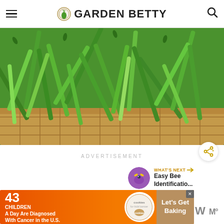GARDEN BETTY
[Figure (photo): A basket overflowing with fresh green beans, close-up photo with vibrant green colors and a wicker basket visible at the bottom right.]
ADVERTISEMENT
[Figure (other): Share button - circular white button with a share icon]
WHAT'S NEXT → Easy Bee Identificatio...
[Figure (photo): Thumbnail of a bee on a purple flower for the 'Easy Bee Identification' article]
[Figure (infographic): Advertisement banner: 43 CHILDREN A Day Are Diagnosed With Cancer in the U.S. - cookies for kids' cancer - Let's Get Baking]